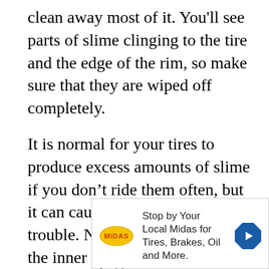clean away most of it. You'll see parts of slime clinging to the tire and the edge of the rim, so make sure that they are wiped off completely.
It is normal for your tires to produce excess amounts of slime if you don't ride them often, but it can cause one hell of a lot of trouble. Not only does it destroy the inner tube, but it can cause permanent damage to the rim and even disable the wheel's steam valve. So if you don't want this to happen, simply squirt some water on the slimed area. Then, use a
[Figure (other): Advertisement banner for Midas auto service showing the Midas logo (yellow oval with MIDAS text), the text 'Stop by Your Local Midas for Tires, Brakes, Oil and More.' and a blue diamond-shaped navigation arrow icon. Below the ad are small play and close control icons.]